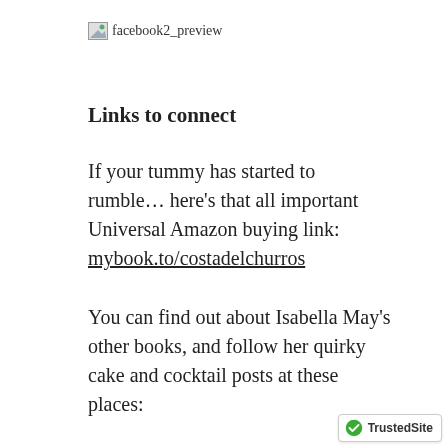[Figure (other): Broken image placeholder labeled 'facebook2_preview']
Links to connect
If your tummy has started to rumble… here's that all important Universal Amazon buying link: mybook.to/costadelchurros
You can find out about Isabella May's other books, and follow her quirky cake and cocktail posts at these places:
[Figure (logo): TrustedSite badge with green checkmark logo]